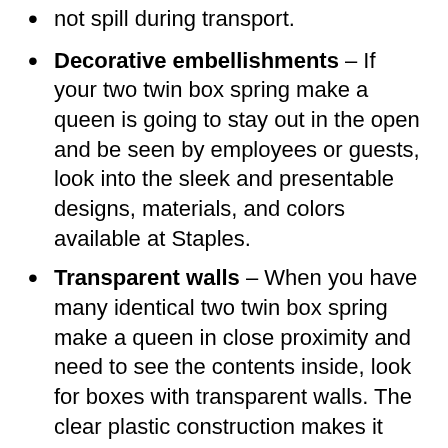not spill during transport.
Decorative embellishments – If your two twin box spring make a queen is going to stay out in the open and be seen by employees or guests, look into the sleek and presentable designs, materials, and colors available at Staples.
Transparent walls – When you have many identical two twin box spring make a queen in close proximity and need to see the contents inside, look for boxes with transparent walls. The clear plastic construction makes it easier to find supplies without removing everything first.
Collapsible construction –
Collapsible boxes fold for convenient...